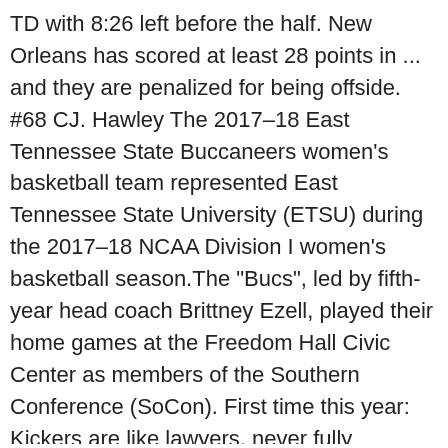TD with 8:26 left before the half. New Orleans has scored at least 28 points in ... and they are penalized for being offside. #68 CJ. Hawley The 2017–18 East Tennessee State Buccaneers women's basketball team represented East Tennessee State University (ETSU) during the 2017–18 NCAA Division I women's basketball season.The "Bucs", led by fifth-year head coach Brittney Ezell, played their home games at the Freedom Hall Civic Center as members of the Southern Conference (SoCon). First time this year: Kickers are like lawyers, never fully appreciated until you need a good one. Take a look back in time at memorable photos from prior Packers-Buccaneers matchups in Green Bay. 11:24 p.m. — Touchdown, Bucaneers. Players. @DeseanJackson11 turns on the jets! WEEK 5 NFL PICKS: Against the spread | Straight up. Folk makes the PAT, and the score is 16-14. Buccaneers QB Tom Brady is in his 14th conference title game, the first 13 coming with the Patriots in the AFC, where he posted a 9-4 mark. 10:40 p.m. — Amendola's catch is taken away because of another Pats penalty. @TBBuccaneers INTERCEPTION!